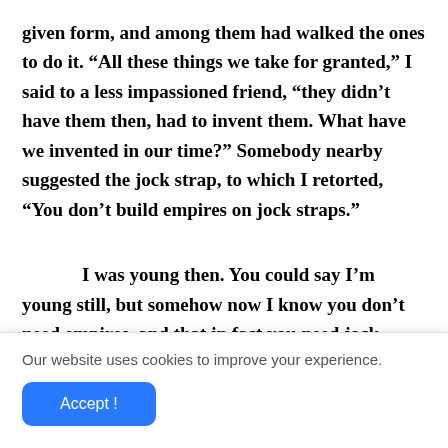given form, and among them had walked the ones to do it. “All these things we take for granted,” I said to a less impassioned friend, “they didn’t have them then, had to invent them. What have we invented in our time?” Somebody nearby suggested the jock strap, to which I retorted, “You don’t build empires on jock straps.”
I was young then. You could say I’m young still, but somehow now I know you don’t need empires, and that in fact you need jock straps more urgently, but that was me,
Our website uses cookies to improve your experience.
Accept !